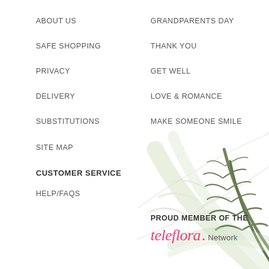ABOUT US
SAFE SHOPPING
PRIVACY
DELIVERY
SUBSTITUTIONS
SITE MAP
CUSTOMER SERVICE
HELP/FAQS
GRANDPARENTS DAY
THANK YOU
GET WELL
LOVE & ROMANCE
MAKE SOMEONE SMILE
[Figure (illustration): Palm/fern leaf decorative illustration in green and white tones, positioned bottom-right corner]
PROUD MEMBER OF THE
[Figure (logo): Teleflora Network logo — 'teleflora.' in pink italic serif font followed by 'Network' in gray sans-serif]